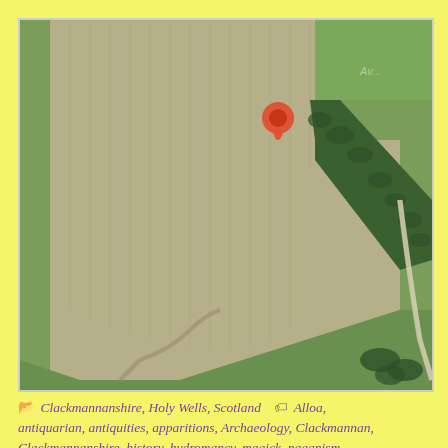[Figure (map): Aerial satellite map view of agricultural fields in Scotland, showing a ploughed field on the left, green pasture fields, a tree line/hedge row, and a road. An orange/red location pin marker is placed near the top-center of the image at the junction between the ploughed field and the green field.]
Clackmannanshire, Holy Wells, Scotland   Alloa, antiquarian, antiquities, apparitions, Archaeology, Clackmannan, Clackmannanshire, history, hydromancy, magick, paganism, ritual, sacred sites, Scotland, water, witchcraft, witches   Leave a comment